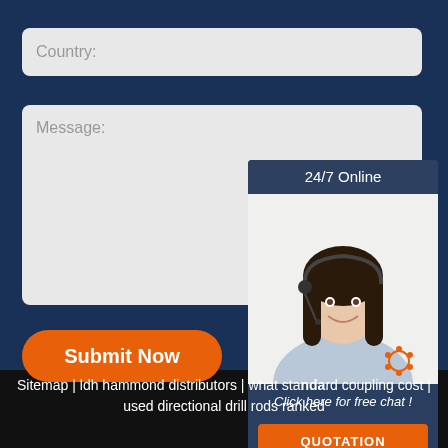Country:
Message:
Submit Now
[Figure (screenshot): 24/7 Online chat widget with a woman wearing a headset, with 'Click here for free chat!' text and a QUOTATION button]
Sitemap | ldh hammond distributors | what standard coupling cost | used directional drill rods ranked